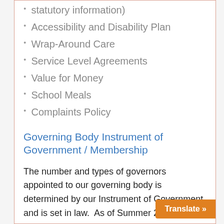statutory information)
Accessibility and Disability Plan
Wrap-Around Care
Service Level Agreements
Value for Money
School Meals
Complaints Policy
Governing Body Instrument of Government / Membership
The number and types of governors appointed to our governing body is determined by our Instrument of Government and is set in law.  As of Summer 2015 and the Instrument of Government agreed by the City Solicitor at that time, the membership of the Governing Body ch…